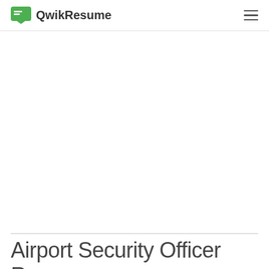QwikResume
Airport Security Officer Resume